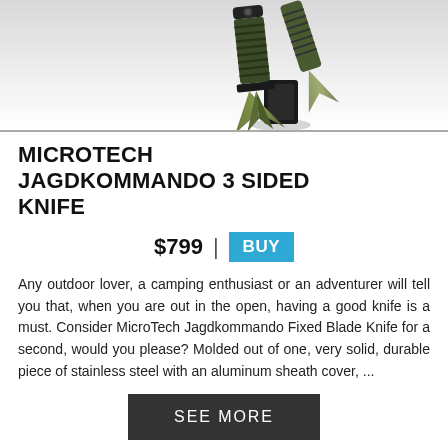[Figure (photo): Product photo of a Microtech Jagdkommando 3 Sided Knife against a light grey/white gradient background. The knife has a dark olive/green handle with wrapped grip and a distinctive twisted tri-blade design with a black sheath/stand.]
MICROTECH JAGDKOMMANDO 3 SIDED KNIFE
$799 | BUY
Any outdoor lover, a camping enthusiast or an adventurer will tell you that, when you are out in the open, having a good knife is a must. Consider MicroTech Jagdkommando Fixed Blade Knife for a second, would you please? Molded out of one, very solid, durable piece of stainless steel with an aluminum sheath cover, ...
SEE MORE